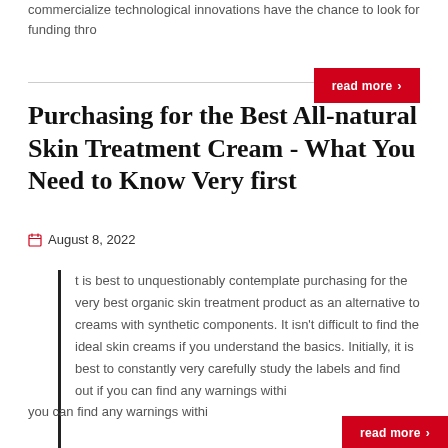commercialize technological innovations have the chance to look for funding thro
read more >
Purchasing for the Best All-natural Skin Treatment Cream - What You Need to Know Very first
August 8, 2022
t is best to unquestionably contemplate purchasing for the very best organic skin treatment product as an alternative to creams with synthetic components. It isn't difficult to find the ideal skin creams if you understand the basics. Initially, it is best to constantly very carefully study the labels and find out if you can find any warnings withi
read more >